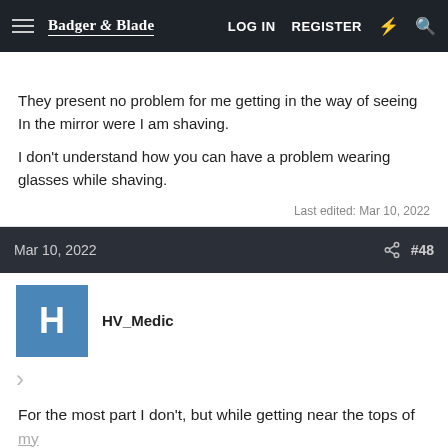Badger & Blade — LOG IN  REGISTER
They present no problem for me getting in the way of seeing In the mirror were I am shaving.
I don't understand how you can have a problem wearing glasses while shaving.
Last edited: Mar 10, 2022
Mar 10, 2022  #48
HV_Medic
For the most part I don't, but while getting near the tops of my sideburns, the angle becomes such that I keep bumping into